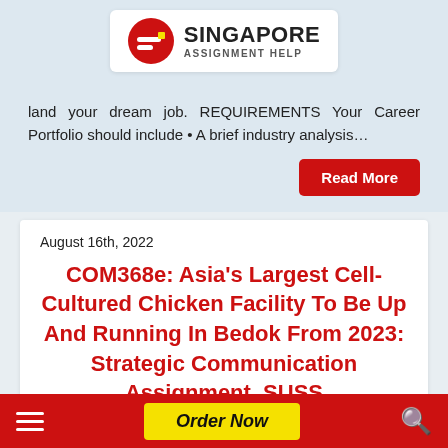[Figure (logo): Singapore Assignment Help logo with red circular icon and text]
land your dream job. REQUIREMENTS Your Career Portfolio should include • A brief industry analysis…
Read More
August 16th, 2022
COM368e: Asia's Largest Cell-Cultured Chicken Facility To Be Up And Running In Bedok From 2023: Strategic Communication Assignment, SUSS
Asia's largest cell-cultured chicken facility to be up and running in Bedok from 2023 The Straits Times, Published
Order Now